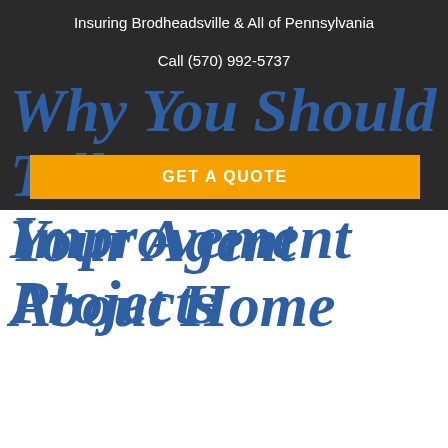Insuring Brodheadsville & All of Pennsylvania
Call (570) 992-5737
Why You Should Tell Your Agent About Home Improvement Projects
GET A QUOTE